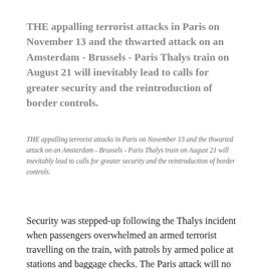THE appalling terrorist attacks in Paris on November 13 and the thwarted attack on an Amsterdam - Brussels - Paris Thalys train on August 21 will inevitably lead to calls for greater security and the reintroduction of border controls.
THE appalling terrorist attacks in Paris on November 13 and the thwarted attack on an Amsterdam - Brussels - Paris Thalys train on August 21 will inevitably lead to calls for greater security and the reintroduction of border controls.
Security was stepped-up following the Thalys incident when passengers overwhelmed an armed terrorist travelling on the train, with patrols by armed police at stations and baggage checks. The Paris attack will no doubt lead to more security measures.